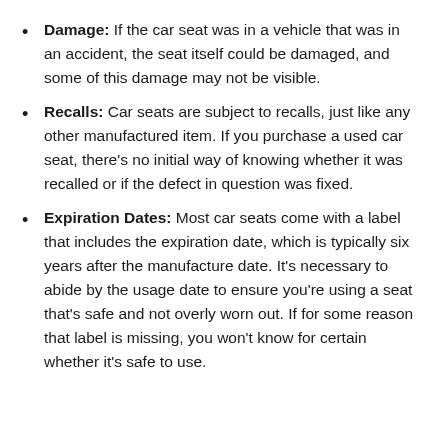Damage: If the car seat was in a vehicle that was in an accident, the seat itself could be damaged, and some of this damage may not be visible.
Recalls: Car seats are subject to recalls, just like any other manufactured item. If you purchase a used car seat, there's no initial way of knowing whether it was recalled or if the defect in question was fixed.
Expiration Dates: Most car seats come with a label that includes the expiration date, which is typically six years after the manufacture date. It's necessary to abide by the usage date to ensure you're using a seat that's safe and not overly worn out. If for some reason that label is missing, you won't know for certain whether it's safe to use.